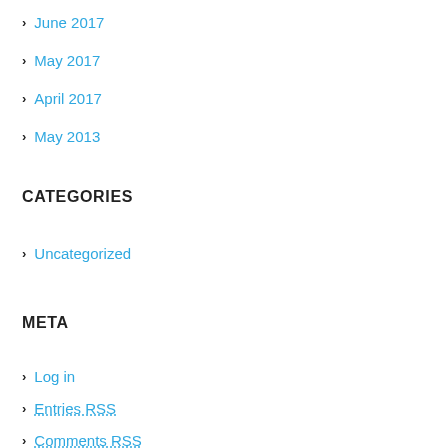June 2017
May 2017
April 2017
May 2013
CATEGORIES
Uncategorized
META
Log in
Entries RSS
Comments RSS